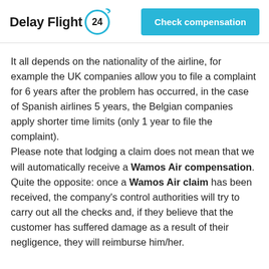Delay Flight 24 | Check compensation
It all depends on the nationality of the airline, for example the UK companies allow you to file a complaint for 6 years after the problem has occurred, in the case of Spanish airlines 5 years, the Belgian companies apply shorter time limits (only 1 year to file the complaint).
Please note that lodging a claim does not mean that we will automatically receive a Wamos Air compensation.
Quite the opposite: once a Wamos Air claim has been received, the company’s control authorities will try to carry out all the checks and, if they believe that the customer has suffered damage as a result of their negligence, they will reimburse him/her.